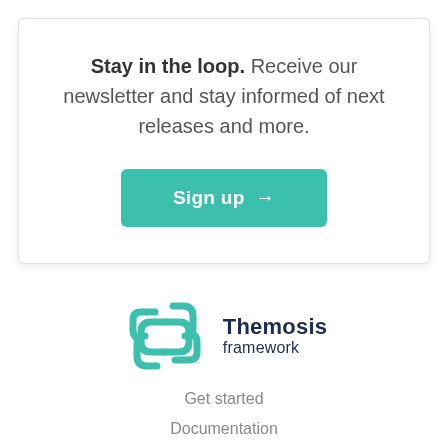Stay in the loop. Receive our newsletter and stay informed of next releases and more.
[Figure (other): Teal rounded rectangle button with white text reading 'Sign up →']
[Figure (logo): Themosis framework logo: teal geometric chain-link icon on left, bold dark text 'Themosis' with lighter 'framework' below on right]
Get started
Documentation